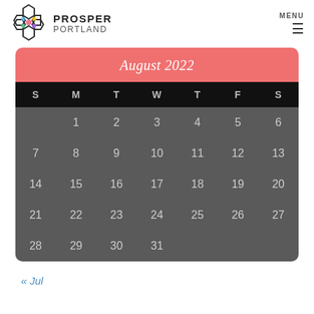PROSPER PORTLAND | MENU
[Figure (other): Prosper Portland logo - flower/hexagon shape with colorful gems]
August 2022
| S | M | T | W | T | F | S |
| --- | --- | --- | --- | --- | --- | --- |
|  | 1 | 2 | 3 | 4 | 5 | 6 |
| 7 | 8 | 9 | 10 | 11 | 12 | 13 |
| 14 | 15 | 16 | 17 | 18 | 19 | 20 |
| 21 | 22 | 23 | 24 | 25 | 26 | 27 |
| 28 | 29 | 30 | 31 |  |  |  |
« Jul